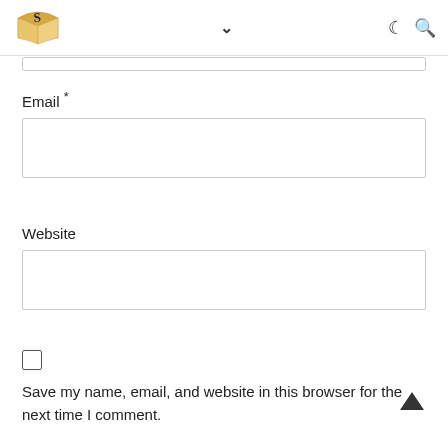Site logo with book icon, navigation chevron, dark mode toggle, search icon
Email *
Website
Save my name, email, and website in this browser for the next time I comment.